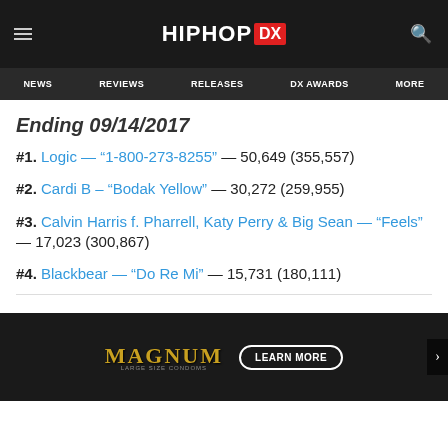HIPHOP DX
NEWS | REVIEWS | RELEASES | DX AWARDS | MORE
Ending 09/14/2017
#1. Logic — "1-800-273-8255" — 50,649 (355,557)
#2. Cardi B – "Bodak Yellow" — 30,272 (259,955)
#3. Calvin Harris f. Pharrell, Katy Perry & Big Sean — "Feels" — 17,023 (300,867)
#4. Blackbear — "Do Re Mi" — 15,731 (180,111)
[Figure (screenshot): Magnum Large Size Condoms advertisement banner with 'LEARN MORE' button]